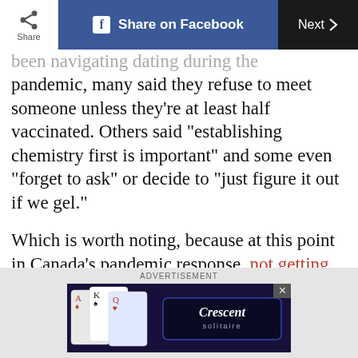Share | Share on Facebook | Next >
been navigating dating during the pandemic, many said they refuse to meet someone unless they’re at least half vaccinated. Others said “establishing chemistry first is important” and some even “forget to ask” or decide to “just figure it out if we gel.”
Which is worth noting, because at this point in Canada’s pandemic response, not getting vaccinated is less an issue of access and more one of choice—or in some cases, a stance.
[Figure (screenshot): Advertisement banner for Crescent Solitaire game, showing playing cards and the Crescent Solitaire logo on dark background]